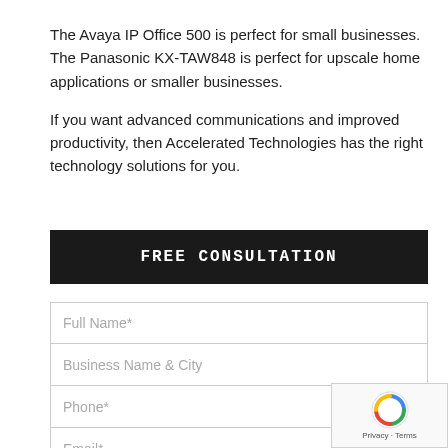The Avaya IP Office 500 is perfect for small businesses. The Panasonic KX-TAW848 is perfect for upscale home applications or smaller businesses.
If you want advanced communications and improved productivity, then Accelerated Technologies has the right technology solutions for you.
FREE CONSULTATION
Full Name*
Business Name & City
Phone*
Email*
Message